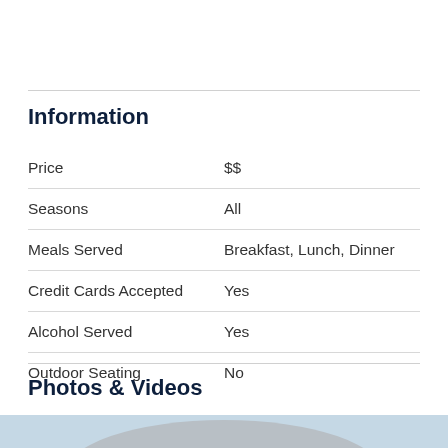Information
| Price | $$ |
| Seasons | All |
| Meals Served | Breakfast, Lunch, Dinner |
| Credit Cards Accepted | Yes |
| Alcohol Served | Yes |
| Outdoor Seating | No |
Photos & Videos
[Figure (photo): A photo area at the bottom of the page showing a light blue background with a rounded mountain or hill shape silhouette.]